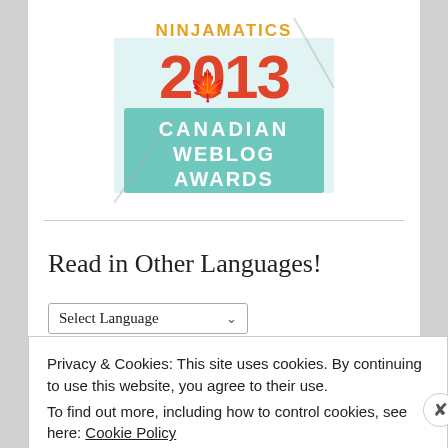[Figure (logo): Ninjamatics 2013 Canadian Weblog Awards logo badge with maple leaf, red and teal colors]
Read in Other Languages!
Select Language (dropdown)
Powered by Google Translate
Privacy & Cookies: This site uses cookies. By continuing to use this website, you agree to their use.
To find out more, including how to control cookies, see here: Cookie Policy
Close and accept